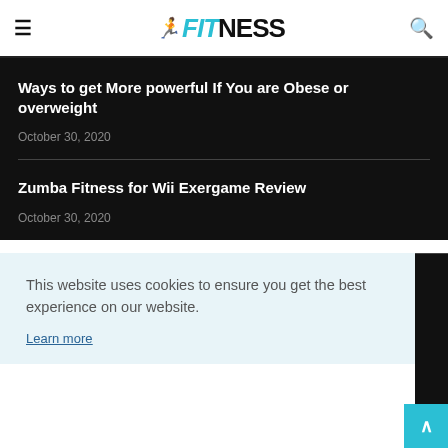FITNESS
Ways to get More powerful If You are Obese or overweight
October 30, 2020
Zumba Fitness for Wii Exergame Review
October 30, 2020
This website uses cookies to ensure you get the best experience on our website.
Learn more
Got it!